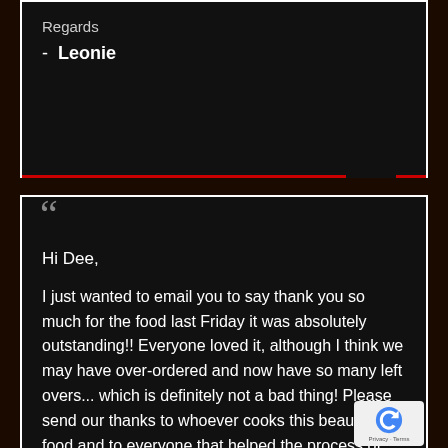Regards
- Leonie
Hi Dee,
I just wanted to email you to say thank you so much for the food last Friday it was absolutely outstanding!! Everyone loved it, although I think we may have over-ordered and now have so many left overs... which is definitely not a bad thing! Please send our thanks to whoever cooks this beautiful food and to everyone that helped the process of this job, we highly appreciate your effort!
Kind regards,